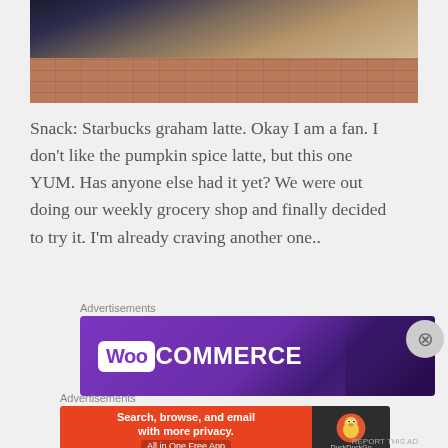[Figure (photo): A photo taken outdoors looking down at brick/tile paving with a coffee cup and striped clothing visible at the top edge]
Snack: Starbucks graham latte. Okay I am a fan. I don’t like the pumpkin spice latte, but this one YUM. Has anyone else had it yet? We were out doing our weekly grocery shop and finally decided to try it. I’m already craving another one..
Advertisements
[Figure (screenshot): WooCommerce advertisement banner with purple background and white WooCommerce logo]
Advertisements
[Figure (screenshot): DuckDuckGo advertisement banner: Search, browse, and email with more privacy. All in One Free App]